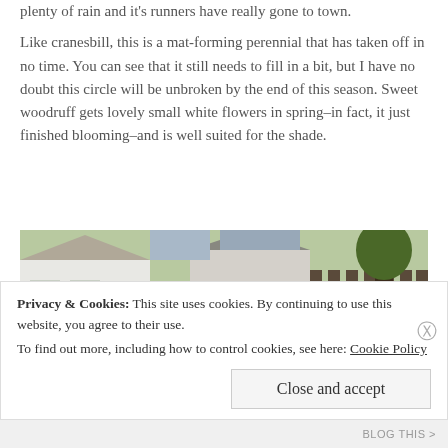plenty of rain and it's runners have really gone to town.
Like cranesbill, this is a mat-forming perennial that has taken off in no time. You can see that it still needs to fill in a bit, but I have no doubt this circle will be unbroken by the end of this season. Sweet woodruff gets lovely small white flowers in spring–in fact, it just finished blooming–and is well suited for the shade.
[Figure (photo): Outdoor garden scene showing a wooden fence, lush green hedges/shrubs, and a white house with trees in the background.]
Privacy & Cookies: This site uses cookies. By continuing to use this website, you agree to their use.
To find out more, including how to control cookies, see here: Cookie Policy
Close and accept